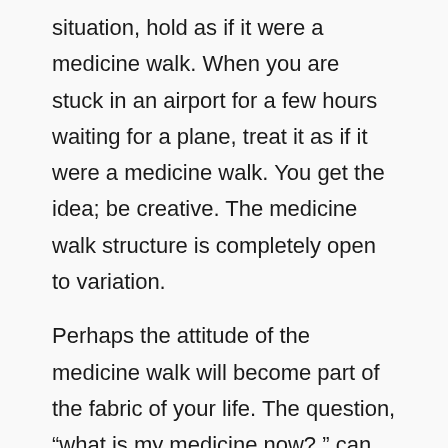situation, hold as if it were a medicine walk. When you are stuck in an airport for a few hours waiting for a plane, treat it as if it were a medicine walk. You get the idea; be creative. The medicine walk structure is completely open to variation.
Perhaps the attitude of the medicine walk will become part of the fabric of your life. The question, “what is my medicine now?,” can become second nature, and the entirety of your life can become a medicine walk, rich with meaning, possibility, and